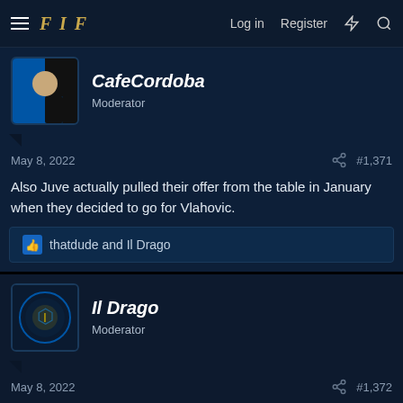FIF  Log in  Register
CafeCordoba
Moderator
May 8, 2022  #1,371
Also Juve actually pulled their offer from the table in January when they decided to go for Vlahovic.
thatdude and Il Drago
Il Drago
Moderator
May 8, 2022  #1,372
Zazzaroni's obsession with Inter continues. He's begging Dybala to go to Roma else at Inter he will have the end of Baggio. 😄
This is telling me Dybala must be very close to Inter if it isn't done